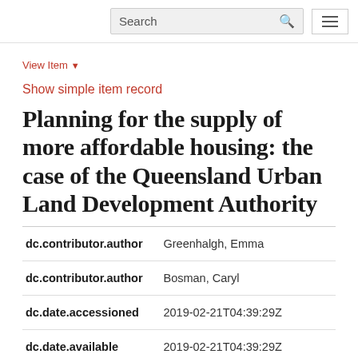Search [search icon] [menu icon]
View Item ▾
Show simple item record
Planning for the supply of more affordable housing: the case of the Queensland Urban Land Development Authority
| Field | Value |
| --- | --- |
| dc.contributor.author | Greenhalgh, Emma |
| dc.contributor.author | Bosman, Caryl |
| dc.date.accessioned | 2019-02-21T04:39:29Z |
| dc.date.available | 2019-02-21T04:39:29Z |